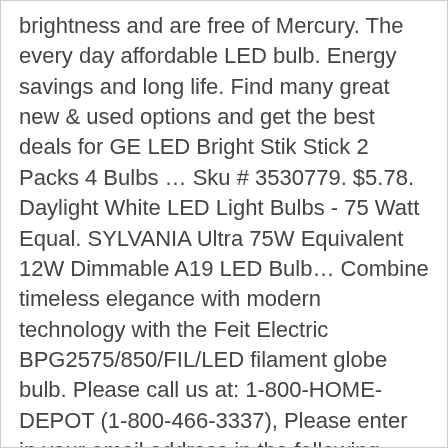brightness and are free of Mercury. The every day affordable LED bulb. Energy savings and long life. Find many great new & used options and get the best deals for GE LED Bright Stik Stick 2 Packs 4 Bulbs … Sku # 3530779. $5.78. Daylight White LED Light Bulbs - 75 Watt Equal. SYLVANIA Ultra 75W Equivalent 12W Dimmable A19 LED Bulb… Combine timeless elegance with modern technology with the Feit Electric BPG2575/850/FIL/LED filament globe bulb. Please call us at: 1-800-HOME-DEPOT (1-800-466-3337), Please enter in your email address in the following format: you@domain.com. 1) Be sure that you truly need 6500K daylight LED bulbs 6500K daylight LED bulbs are not for everyone, especially in a residential application. Sylvania 60-Watt Double Life B10 Incandescent Light Bulb (4-Pack) $3.97. Patriot Lighting® 60W Equivalent ST15 Warm White